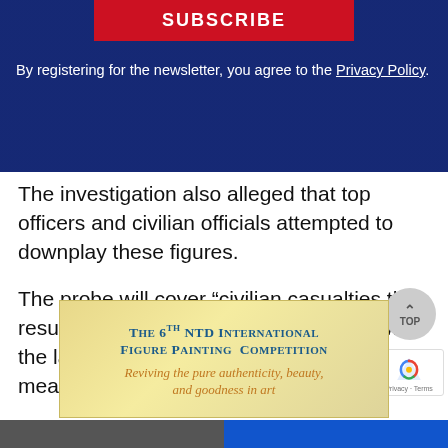[Figure (screenshot): Red SUBSCRIBE button on dark blue city background banner]
By registering for the newsletter, you agree to the Privacy Policy.
The investigation also alleged that top officers and civilian officials attempted to downplay these figures.
The probe will cover “civilian casualties that resulted from the incident, compliance with the law of war” and “whether accountability measures would be appropriate,” Kirby said.
[Figure (illustration): The 6th NTD International Figure Painting Competition advertisement. Reviving the pure authenticity, beauty, and goodness in art.]